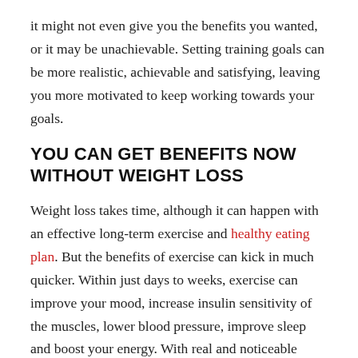it might not even give you the benefits you wanted, or it may be unachievable. Setting training goals can be more realistic, achievable and satisfying, leaving you more motivated to keep working towards your goals.
YOU CAN GET BENEFITS NOW WITHOUT WEIGHT LOSS
Weight loss takes time, although it can happen with an effective long-term exercise and healthy eating plan. But the benefits of exercise can kick in much quicker. Within just days to weeks, exercise can improve your mood, increase insulin sensitivity of the muscles, lower blood pressure, improve sleep and boost your energy. With real and noticeable short-term benefits, an exercise program can help you work towards better health, keeping you